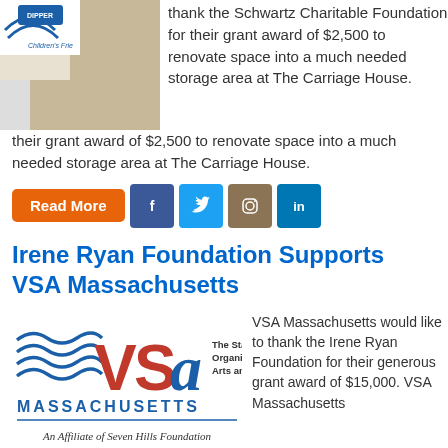[Figure (photo): Photo of child from Children's Friends, partially visible at top left]
thank the Schwartz Charitable Foundation for their grant award of $2,500 to renovate space into a much needed storage area at The Carriage House.
[Figure (other): Social media buttons: Read More (orange), Facebook (blue), Twitter (blue), Instagram (brown), LinkedIn (blue)]
Irene Ryan Foundation Supports VSA Massachusetts
[Figure (logo): VSA Massachusetts logo - The State Organization on Arts and Disability, An Affiliate of Seven Hills Foundation]
VSA Massachusetts would like to thank the Irene Ryan Foundation for their generous grant award of $15,000. VSA Massachusetts